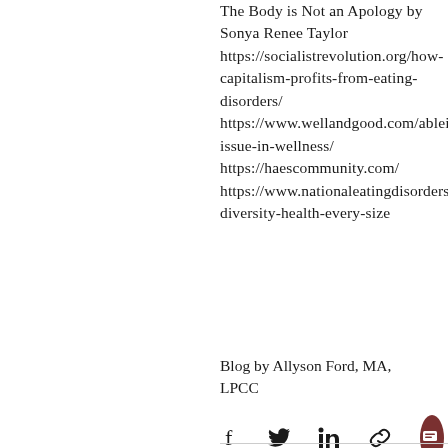The Body is Not an Apology by Sonya Renee Taylor https://socialistrevolution.org/how-capitalism-profits-from-eating-disorders/ https://www.wellandgood.com/ableism-issue-in-wellness/ https://haescommunity.com/ https://www.nationaleatingdisorders.org/size-diversity-health-every-size
Blog by Allyson Ford, MA, LPCC
[Figure (other): Social sharing icons: Facebook, Twitter, LinkedIn, link/chain icon, and a dark red circular chat button]